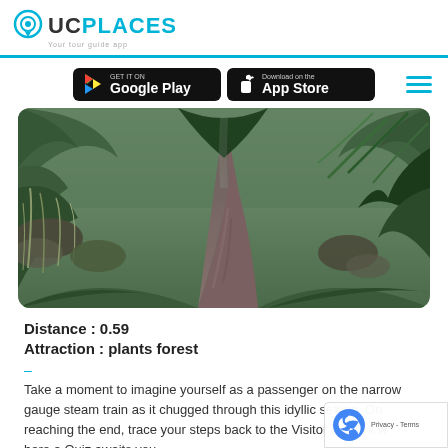UCPLACES — Your tour guide app
[Figure (photo): UCPlaces app store buttons — Google Play and App Store on dark background with hamburger menu icon]
[Figure (photo): Forest walking path with ferns and mossy rocks on either side, lush green vegetation, overcast lighting]
Distance : 0.59
Attraction : plants forest
–
Take a moment to imagine yourself as a passenger on the narrow gauge steam train as it chugged through this idyllic setting. On reaching the end, trace your steps back to the Visitor carpark where a Quiz awaits you.